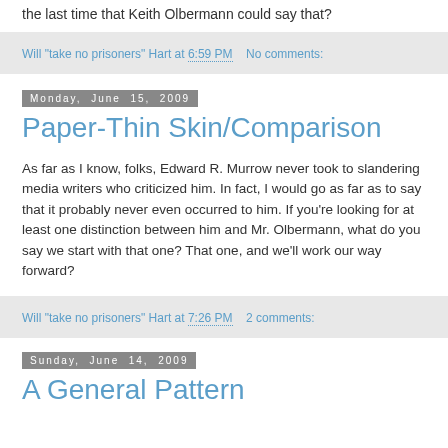the last time that Keith Olbermann could say that?
Will "take no prisoners" Hart at 6:59 PM    No comments:
Monday, June 15, 2009
Paper-Thin Skin/Comparison
As far as I know, folks, Edward R. Murrow never took to slandering media writers who criticized him. In fact, I would go as far as to say that it probably never even occurred to him. If you're looking for at least one distinction between him and Mr. Olbermann, what do you say we start with that one? That one, and we'll work our way forward?
Will "take no prisoners" Hart at 7:26 PM    2 comments:
Sunday, June 14, 2009
A General Pattern